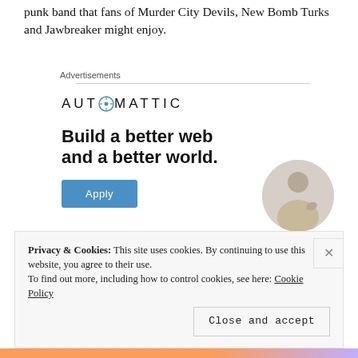punk band that fans of Murder City Devils, New Bomb Turks and Jawbreaker might enjoy.
Advertisements
[Figure (logo): Automattic company logo with compass icon replacing the letter O]
[Figure (infographic): Automattic advertisement: Build a better web and a better world. Apply button and photo of a man thinking.]
Privacy & Cookies: This site uses cookies. By continuing to use this website, you agree to their use.
To find out more, including how to control cookies, see here: Cookie Policy
Close and accept